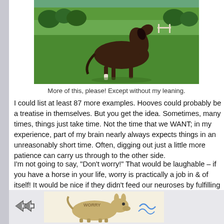[Figure (photo): A dark bay horse trotting on a green grassy field, viewed from the side. Trees and fencing visible in background.]
More of this, please! Except without my leaning.
I could list at least 87 more examples.  Hooves could probably be a treatise in themselves.  But you get the idea.  Sometimes, many times, things just take time.  Not the time that we WANT; in my experience, part of my brain nearly always expects things in an unreasonably short time.  Often, digging out just a little more patience can carry us through to the other side.
I'm not going to say, "Don't worry!"  That would be laughable – if you have a horse in your life, worry is practically a job in & of itself!  It would be nice if they didn't feed our neuroses by fulfilling them quite so often. I can dream. And of course, waiting is not always applicable, use of judgement is required.
[Figure (illustration): Cartoon illustration of a donkey/Eeyore-like character, partially visible at the bottom of the page.]